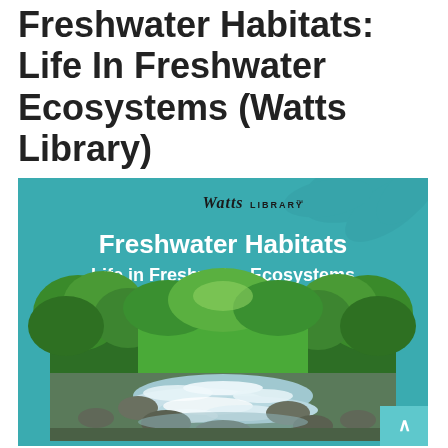Freshwater Habitats: Life In Freshwater Ecosystems (Watts Library)
[Figure (illustration): Book cover of 'Freshwater Habitats: Life in Freshwater Ecosystems' from the Watts Library series. Teal/turquoise background with 'Watts Library' logo at top center. Bold white text reads 'Freshwater Habitats' and 'Life in Freshwater Ecosystems'. Below the text is a photograph of a rocky river or stream with lush green forest on both banks, with white rapids flowing over the rocks.]